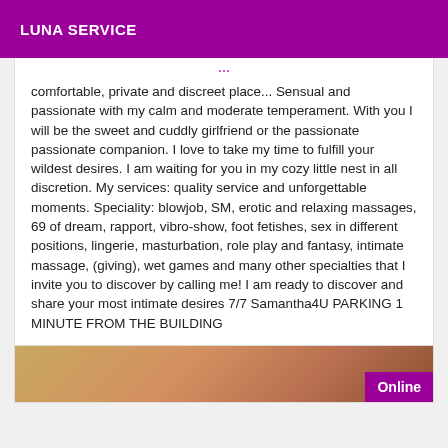LUNA SERVICE
comfortable, private and discreet place... Sensual and passionate with my calm and moderate temperament. With you I will be the sweet and cuddly girlfriend or the passionate passionate companion. I love to take my time to fulfill your wildest desires. I am waiting for you in my cozy little nest in all discretion. My services: quality service and unforgettable moments. Speciality: blowjob, SM, erotic and relaxing massages, 69 of dream, rapport, vibro-show, foot fetishes, sex in different positions, lingerie, masturbation, role play and fantasy, intimate massage, (giving), wet games and many other specialties that I invite you to discover by calling me! I am ready to discover and share your most intimate desires 7/7 Samantha4U PARKING 1 MINUTE FROM THE BUILDING
[Figure (photo): Partial photo of a woman with an Online badge in purple at bottom right]